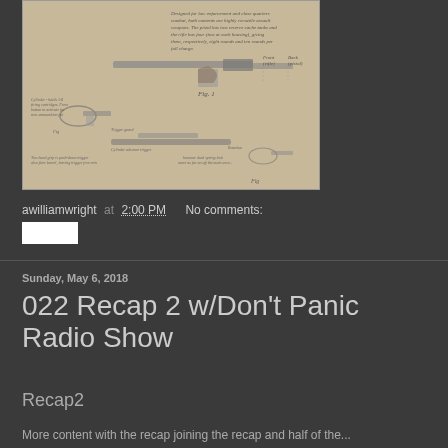[Figure (engineering-diagram): Hand-drawn schematic/technical diagram of firearms (pistol and rifle) with handwritten labels and annotations including 'Fig. 1', cylinder notes, trigger guard, cylinder advance trigger, and other mechanical details on aged paper background]
awilliamwright at 2:00 PM   No comments:
[Figure (other): Small white share/social button]
Sunday, May 6, 2018
022 Recap 2 w/Don't Panic Radio Show
Recap2
More content with the recap joining the recap and half of the...